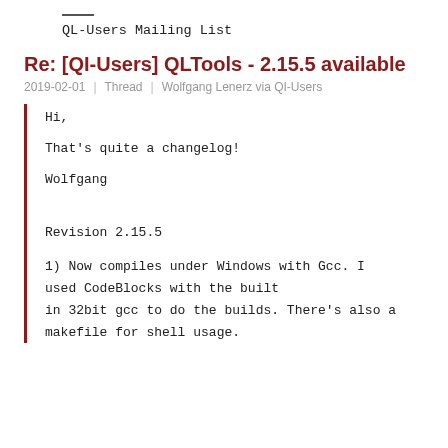QL-Users Mailing List
Re: [QI-Users] QLTools - 2.15.5 available
2019-02-01  |  Thread  |  Wolfgang Lenerz via QI-Users
Hi,

That's quite a changelog!

Wolfgang
Revision 2.15.5
1) Now compiles under Windows with Gcc. I used CodeBlocks with the built
in 32bit gcc to do the builds. There's also a makefile for shell usage.